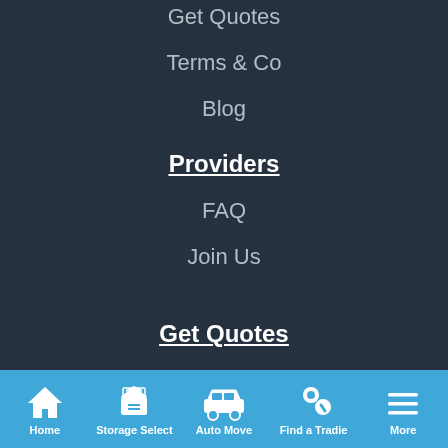Get Quotes
Terms & Co
Blog
Providers
FAQ
Join Us
Get Quotes
Removalist Quotes
Removalists
Furniture Removalists
Home | Storage Select | Auto Move | Find a Tradie | More